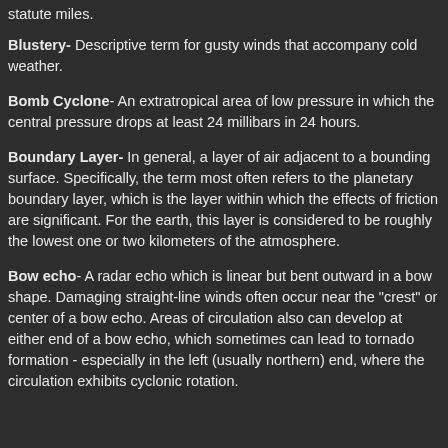statute miles.
Blustery- Descriptive term for gusty winds that accompany cold weather.
Bomb Cyclone- An extratropical area of low pressure in which the central pressure drops at least 24 millibars in 24 hours.
Boundary Layer- In general, a layer of air adjacent to a bounding surface. Specifically, the term most often refers to the planetary boundary layer, which is the layer within which the effects of friction are significant. For the earth, this layer is considered to be roughly the lowest one or two kilometers of the atmosphere.
Bow echo- A radar echo which is linear but bent outward in a bow shape. Damaging straight-line winds often occur near the "crest" or center of a bow echo. Areas of circulation also can develop at either end of a bow echo, which sometimes can lead to tornado formation - especially in the left (usually northern) end, where the circulation exhibits cyclonic rotation.